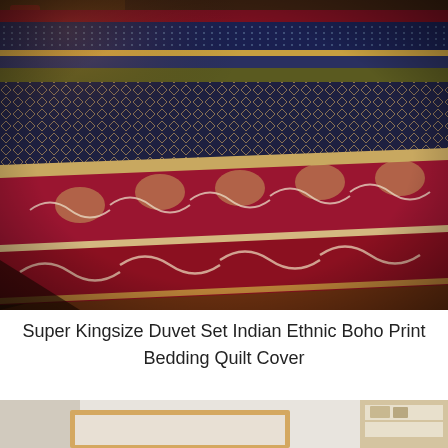[Figure (photo): Photograph of a Super Kingsize Duvet Set with Indian Ethnic Boho Print on a wooden floor. The bedding features multi-colored horizontal stripes with intricate ethnic patterns including diamond motifs, paisley designs, and scrollwork in deep navy, dark teal, gold, red/crimson, and cream colors. The quilt cover is shown folded and draped on a wooden plank floor with warm ambient lighting.]
Super Kingsize Duvet Set Indian Ethnic Boho Print Bedding Quilt Cover
[Figure (photo): Partial photograph at the bottom of the page showing what appears to be a bedroom setting with white/cream bedding on a wooden bed frame, with curtains and a small shelf or ladder visible in the background.]